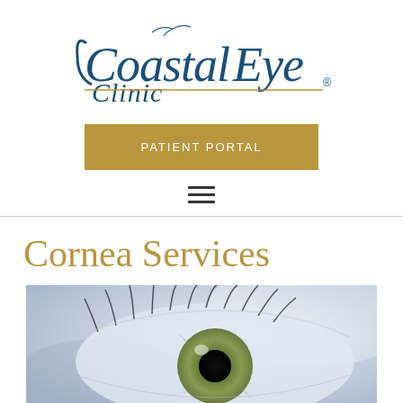[Figure (logo): Coastal Eye Clinic logo with stylized seagull and blue italic/serif text]
[Figure (other): Gold/tan rectangular Patient Portal button with white uppercase text]
[Figure (other): Hamburger menu icon with three horizontal lines]
Cornea Services
[Figure (photo): Close-up macro photograph of a human eye showing iris, pupil, and eyelashes in blue-grey tones]